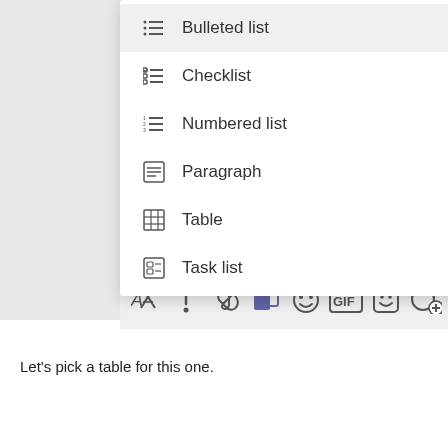[Figure (screenshot): A dropdown menu in a chat/collaboration app showing formatting options: Bulleted list, Checklist, Numbered list, Paragraph, Table, Task list. Below the dropdown is a toolbar with icons for formatting, attachment, emoji, GIF, sticker, and more.]
Let's pick a table for this one.